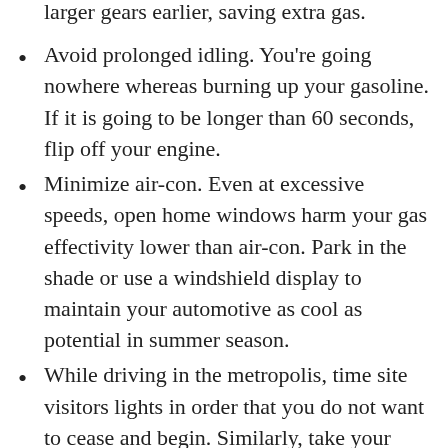larger gears earlier, saving extra gas.
Avoid prolonged idling. You're going nowhere whereas burning up your gasoline. If it is going to be longer than 60 seconds, flip off your engine.
Minimize air-con. Even at excessive speeds, open home windows harm your gas effectivity lower than air-con. Park in the shade or use a windshield display to maintain your automotive as cool as potential in summer season.
While driving in the metropolis, time site visitors lights in order that you do not want to cease and begin. Similarly, take your foot off the gasoline as quickly as you see a purple gentle or close to a cease signal. The much less braking and accelerating, the extra gasoline you'll